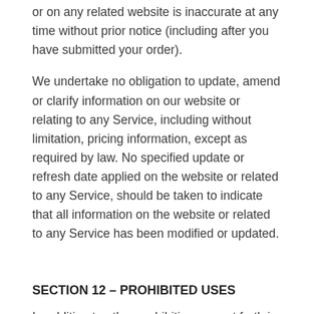or on any related website is inaccurate at any time without prior notice (including after you have submitted your order).
We undertake no obligation to update, amend or clarify information on our website or relating to any Service, including without limitation, pricing information, except as required by law. No specified update or refresh date applied on the website or related to any Service, should be taken to indicate that all information on the website or related to any Service has been modified or updated.
SECTION 12 – PROHIBITED USES
In addition to other prohibitions as set forth in the Terms of Service, you are prohibited from using the site or its content: (a) for any unlawful purpose, including, without limitation, to falsely claim that an animal is a service animal, emotional support animal, or therapeutic animal; (b) to solicit others to perform or participate in any unlawful acts;